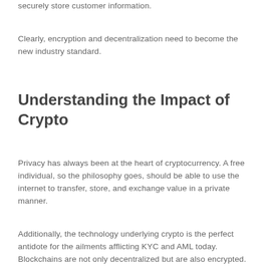securely store customer information.
Clearly, encryption and decentralization need to become the new industry standard.
Understanding the Impact of Crypto
Privacy has always been at the heart of cryptocurrency. A free individual, so the philosophy goes, should be able to use the internet to transfer, store, and exchange value in a private manner.
Additionally, the technology underlying crypto is the perfect antidote for the ailments afflicting KYC and AML today. Blockchains are not only decentralized but are also encrypted. Projects like Sia and Storj, for example, have built a